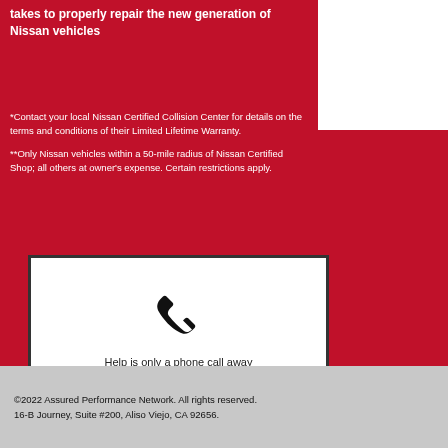takes to properly repair the new generation of Nissan vehicles
*Contact your local Nissan Certified Collision Center for details on the terms and conditions of their Limited Lifetime Warranty.
**Only Nissan vehicles within a 50-mile radius of Nissan Certified Shop; all others at owner's expense. Certain restrictions apply.
[Figure (other): White contact box with phone icon, text 'Help is only a phone call away' and phone number 949.221.0010]
©2022 Assured Performance Network. All rights reserved. 16-B Journey, Suite #200, Aliso Viejo, CA 92656.